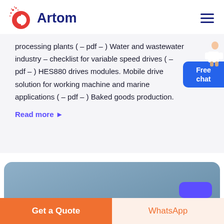Artom
processing plants ( - pdf - ) Water and wastewater industry - checklist for variable speed drives ( - pdf - ) HES880 drives modules. Mobile drive solution for working machine and marine applications ( - pdf - ) Baked goods production.
Read more ▶
[Figure (screenshot): Blue/steel colored section at the bottom with a purple button visible at lower right]
Get a Quote
WhatsApp